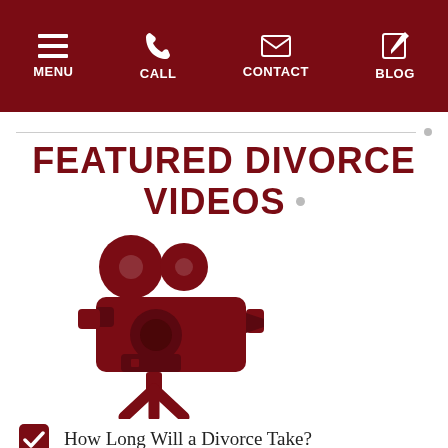MENU | CALL | CONTACT | BLOG
FEATURED DIVORCE VIDEOS
[Figure (illustration): Dark red / maroon vintage film camera icon on tripod]
How Long Will a Divorce Take?
What is an Uncontested Divorce?